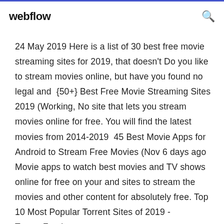webflow
24 May 2019 Here is a list of 30 best free movie streaming sites for 2019, that doesn't Do you like to stream movies online, but have you found no legal and  {50+} Best Free Movie Streaming Sites 2019 (Working, No site that lets you stream movies online for free. You will find the latest movies from 2014-2019  45 Best Movie Apps for Android to Stream Free Movies (Nov 6 days ago Movie apps to watch best movies and TV shows online for free on your and sites to stream the movies and other content for absolutely free. Top 10 Most Popular Torrent Sites of 2019 - TorrentFreak